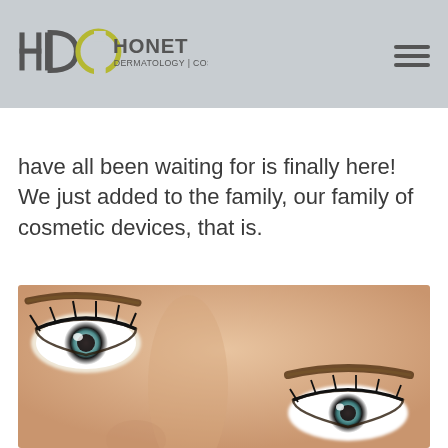HONET DERMATOLOGY | COSMETIC
have all been waiting for is finally here! We just added to the family, our family of cosmetic devices, that is.
[Figure (photo): Close-up photograph of a woman's eyes and eyebrows, showing blue-green eyes with dark mascara and well-defined brows against fair skin.]